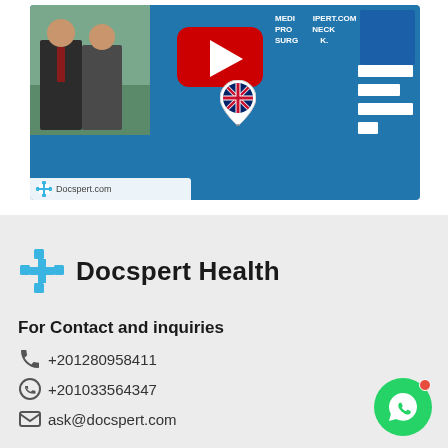[Figure (screenshot): Docspert.com YouTube video thumbnail showing two men in suits outdoors with a YouTube play button overlay, a UK flag map pin, text overlay reading 'MEDI...IPERT.COM PRO... NECK SURG...' and a Docspert.com watermark at the bottom left]
[Figure (logo): Docspert Health logo with cyan/teal cross icon and 'Docspert Health' text]
For Contact and inquiries
+201280958411
+201033564347
ask@docspert.com
[Figure (other): WhatsApp green circle button with phone icon and red notification dot]